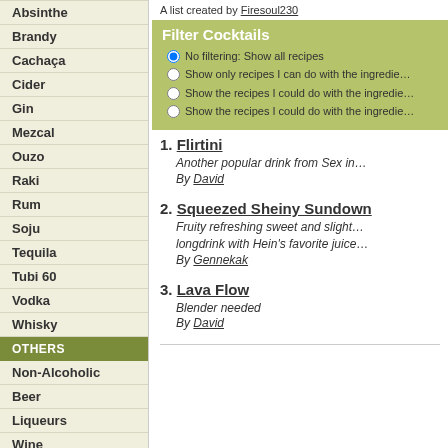Absinthe
Brandy
Cachaça
Cider
Gin
Mezcal
Ouzo
Raki
Rum
Soju
Tequila
Tubi 60
Vodka
Whisky
OTHERS
Non-Alcoholic
Beer
Liqueurs
Wine
CATEGORIES
A list created by Firesoul230
Filter Cocktails
No filtering: Show all recipes
Show only recipes I can do with the ingredie...
Show the recipes I could do with the ingredie...
Show the recipes I could do with the ingredie...
1. Flirtini — Another popular drink from Sex in... By David
2. Squeezed Sheiny Sundown — Fruity refreshing sweet and slight... longdrink with Hein's favorite juice... By Gennekak
3. Lava Flow — Blender needed By David